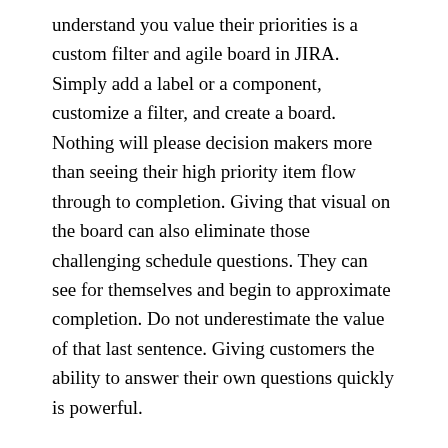understand you value their priorities is a custom filter and agile board in JIRA. Simply add a label or a component, customize a filter, and create a board. Nothing will please decision makers more than seeing their high priority item flow through to completion. Giving that visual on the board can also eliminate those challenging schedule questions. They can see for themselves and begin to approximate completion. Do not underestimate the value of that last sentence. Giving customers the ability to answer their own questions quickly is powerful.
Conclusion
While not comprehensive, these ideas and concepts should help many who use JIRA or are considering the product. Staying on the roadmap that haseffec...